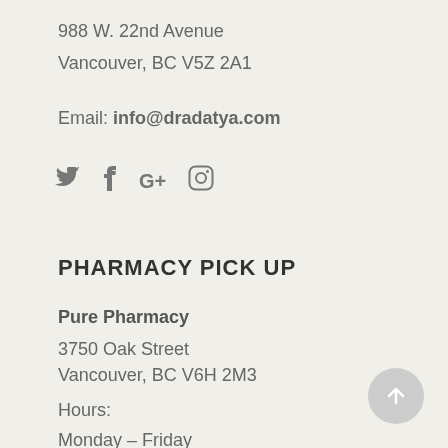988 W. 22nd Avenue
Vancouver, BC V5Z 2A1
Email: info@dradatya.com
[Figure (infographic): Social media icons: Twitter (bird), Facebook (f), Google+ (G+), Instagram (camera outline)]
PHARMACY PICK UP
Pure Pharmacy
3750 Oak Street
Vancouver, BC V6H 2M3
Hours:
Monday – Friday